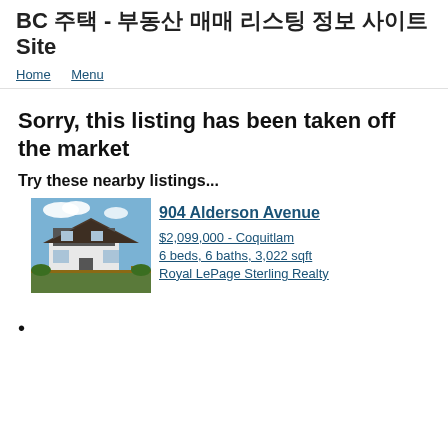BC 부동산 - 부동산 부동산 부동산 부동산 부동산 Site
Home   Menu
Sorry, this listing has been taken off the market
Try these nearby listings...
[Figure (photo): Photo of a two-story house at 904 Alderson Avenue, Coquitlam]
904 Alderson Avenue
$2,099,000 - Coquitlam
6 beds, 6 baths, 3,022 sqft
Royal LePage Sterling Realty